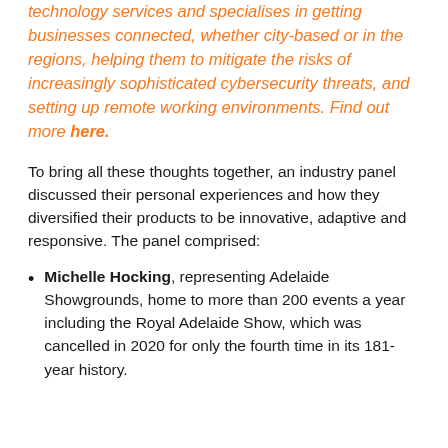technology services and specialises in getting businesses connected, whether city-based or in the regions, helping them to mitigate the risks of increasingly sophisticated cybersecurity threats, and setting up remote working environments. Find out more here.
To bring all these thoughts together, an industry panel discussed their personal experiences and how they diversified their products to be innovative, adaptive and responsive. The panel comprised:
Michelle Hocking, representing Adelaide Showgrounds, home to more than 200 events a year including the Royal Adelaide Show, which was cancelled in 2020 for only the fourth time in its 181-year history.